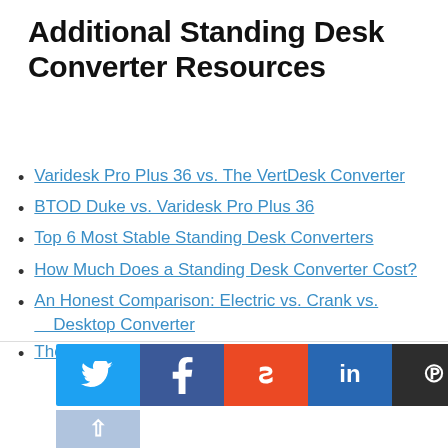Additional Standing Desk Converter Resources
Varidesk Pro Plus 36 vs. The VertDesk Converter
BTOD Duke vs. Varidesk Pro Plus 36
Top 6 Most Stable Standing Desk Converters
How Much Does a Standing Desk Converter Cost?
An Honest Comparison: Electric vs. Crank vs. Desktop Converter
The 5 Best VariDesk Alternatives and Competitors
[Figure (infographic): Social sharing bar with Twitter (blue), Facebook (dark blue), StumbleUpon (red-orange), LinkedIn (blue), and Pinterest (dark) buttons, plus a scroll-up arrow button below in light blue-grey.]